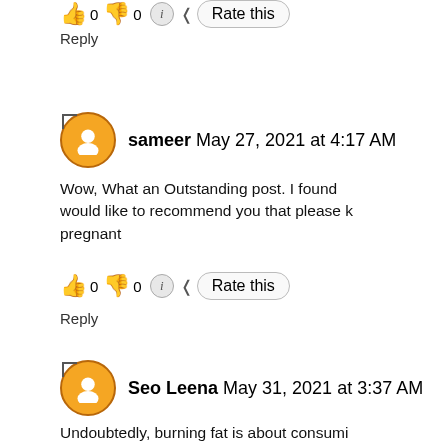[Figure (screenshot): Partial blog comment UI showing thumbs up, thumbs down icons with 0 counts, Rate this button, and Reply link at the top of the page (cut off from previous comment)]
Reply
sameer May 27, 2021 at 4:17 AM
Wow, What an Outstanding post. I found would like to recommend you that please k pregnant
0 0 Rate this
Reply
Seo Leena May 31, 2021 at 3:37 AM
Undoubtedly, burning fat is about consumi do not have to bother about burning fat an will not reduce your weight and burn em consume. can diabetics have kfc